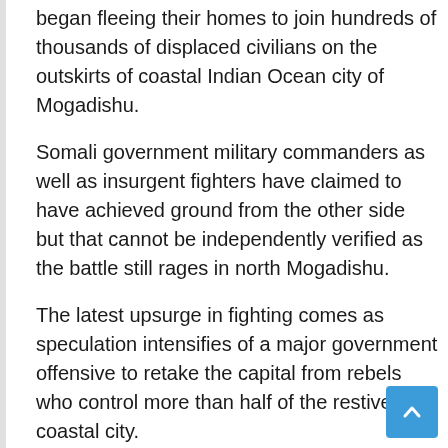began fleeing their homes to join hundreds of thousands of displaced civilians on the outskirts of coastal Indian Ocean city of Mogadishu.
Somali government military commanders as well as insurgent fighters have claimed to have achieved ground from the other side but that cannot be independently verified as the battle still rages in north Mogadishu.
The latest upsurge in fighting comes as speculation intensifies of a major government offensive to retake the capital from rebels who control more than half of the restive coastal city.
Somali government controls only parts of the capital Mogadishu while Islamist groups rein over large swathes of territory in the south and